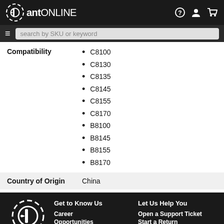antONLINE header with search bar
Compatibility
C8100
C8130
C8135
C8145
C8155
C8170
B8100
B8145
B8155
B8170
Country of Origin
China
Get to Know Us | Career | Opportunities | Blog | About antonline | Let Us Help You | Open a Support Ticket | Start a Return | View Our Terms of Sale